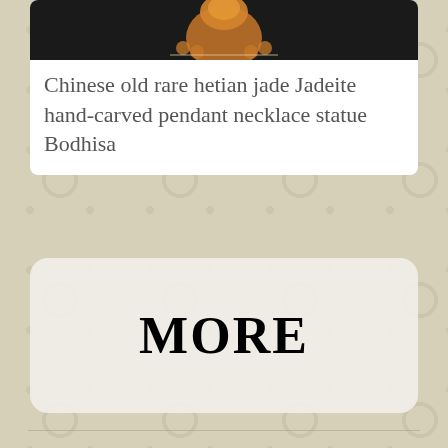[Figure (photo): Partial view of a carved jade Bodhisattva pendant necklace statue on dark background, showing orange/amber colored carved figure at top]
Chinese old rare hetian jade Jadeite hand-carved pendant necklace statue Bodhisa
MORE